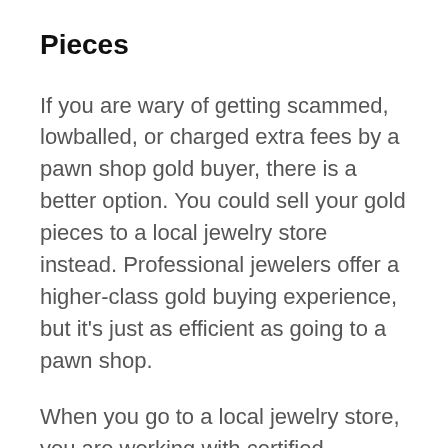Pieces
If you are wary of getting scammed, lowballed, or charged extra fees by a pawn shop gold buyer, there is a better option. You could sell your gold pieces to a local jewelry store instead. Professional jewelers offer a higher-class gold buying experience, but it's just as efficient as going to a pawn shop.
When you go to a local jewelry store, you are working with certified